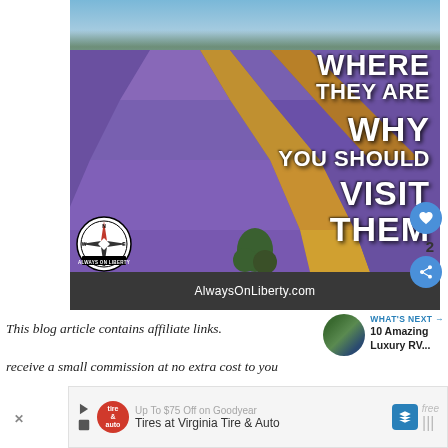[Figure (photo): Lavender field with rows of purple lavender plants and sand-colored paths receding into the distance, with a village and trees on the horizon under blue sky. Text overlaid reads: WHERE THEY ARE / WHY YOU SHOULD / VISIT THEM. AlwaysOnLiberty.com logo at bottom. Heart icon (2 likes) and share icon on right.]
This blog article contains affiliate links.
receive a small commission at no extra cost to you
[Figure (other): WHAT'S NEXT arrow — thumbnail of scenic water with trees, label: 10 Amazing Luxury RV...]
Up To $75 Off on Goodyear Tires at Virginia Tire & Auto